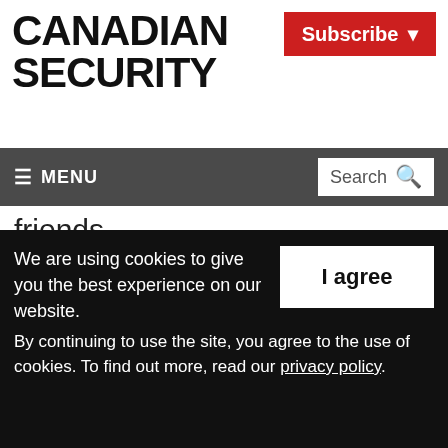CANADIAN SECURITY
Subscribe
≡ MENU  Search
friends.
GSX is community-building at its finest for the individuals who make our world a safer place to live and work. At the core of building a best-in-class online and in-person experience was a deep commitment to inclusivity, so that if
We are using cookies to give you the best experience on our website.
By continuing to use the site, you agree to the use of cookies. To find out more, read our privacy policy.